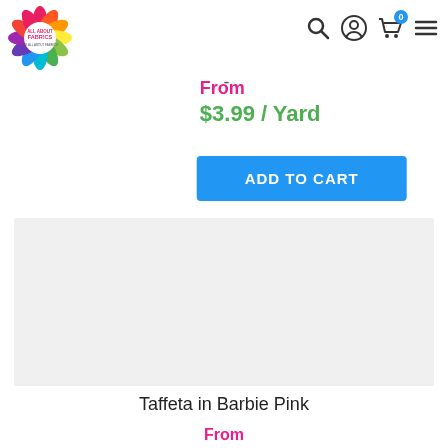[Figure (logo): All About Fabrics colorful flower/star logo with text 'ALL ABOUT FABRICS' in center]
[Figure (screenshot): Navigation icons: search (magnifying glass), account (person circle), cart (shopping cart with 0 badge), hamburger menu]
-
From
$3.99 / Yard
ADD TO CART
[Figure (photo): Light gray product image placeholder area for fabric product]
Taffeta in Barbie Pink
From